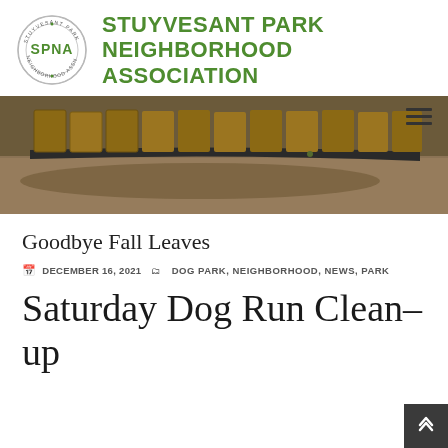[Figure (logo): Stuyvesant Park Neighborhood Association logo: circular badge with SPNA initials and text around the border, next to large green bold text reading STUYVESANT PARK NEIGHBORHOOD ASSOCIATION]
[Figure (photo): Photograph of brown paper leaf bags lined up along a curved park curb on a brick/stone path, with shadows visible]
Goodbye Fall Leaves
DECEMBER 16, 2021   DOG PARK, NEIGHBORHOOD, NEWS, PARK
Saturday Dog Run Clean-up